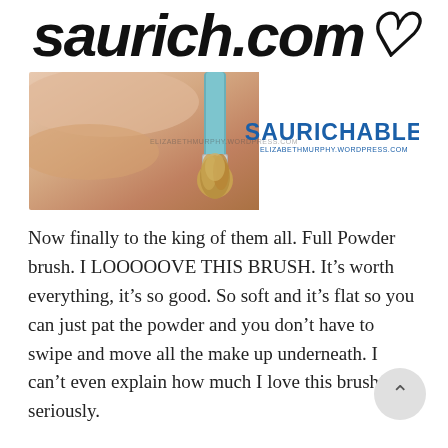saurich.com♥
[Figure (photo): A photo of a makeup powder brush with a teal/blue handle, held by a hand. The right side of the banner shows the text 'SAURICHABLE' in bold blue letters with a small URL below it. There is a faint watermark in the center.]
Now finally to the king of them all. Full Powder brush. I LOOOOOVE THIS BRUSH. It's worth everything, it's so good. So soft and it's flat so you can just pat the powder and you don't have to swipe and move all the make up underneath. I can't even explain how much I love this brush seriously.